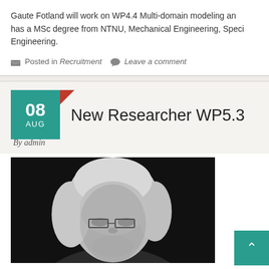Gaute Fotland will work on WP4.4 Multi-domain modeling an... has a MSc degree from NTNU, Mechanical Engineering, Speci... Engineering.
Posted in Recruitment   Leave a comment
New Researcher WP5.3
By admin
[Figure (photo): Black and white portrait photograph of a woman with medium-length blonde/grey hair wearing glasses, shot against a dark background.]